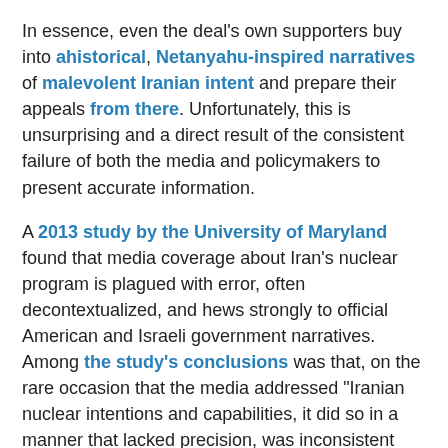In essence, even the deal's own supporters buy into ahistorical, Netanyahu-inspired narratives of malevolent Iranian intent and prepare their appeals from there. Unfortunately, this is unsurprising and a direct result of the consistent failure of both the media and policymakers to present accurate information.
A 2013 study by the University of Maryland found that media coverage about Iran's nuclear program is plagued with error, often decontextualized, and hews strongly to official American and Israeli government narratives. Among the study's conclusions was that, on the rare occasion that the media addressed "Iranian nuclear intentions and capabilities, it did so in a manner that lacked precision, was inconsistent over time, and failed to provide adequate sourcing and context for claims. This led to an inaccurate picture of the choices facing policy makers."
One of the most striking examples of this egregious practice is a recent opinion piece by Anne-Marie Slaughter in USA Today, a publication with a history of terrible reporting and commentary on Iran.